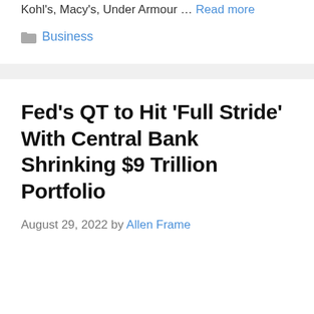Kohl's, Macy's, Under Armour … Read more
Business
Fed's QT to Hit 'Full Stride' With Central Bank Shrinking $9 Trillion Portfolio
August 29, 2022 by Allen Frame